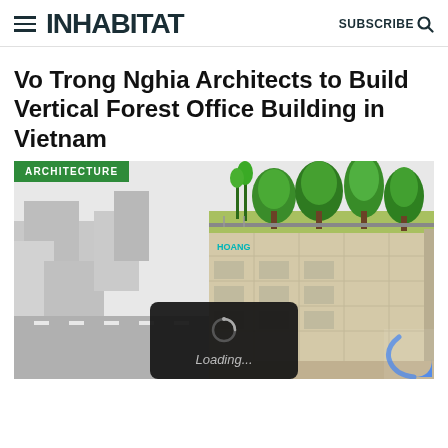INHABITAT  SUBSCRIBE
Vo Trong Nghia Architects to Build Vertical Forest Office Building in Vietnam
[Figure (illustration): Architectural rendering of a vertical forest office building in Vietnam with lush green trees on roof terraces surrounded by white urban block models. An ARCHITECTURE badge in green is overlaid top-left.]
Loading...